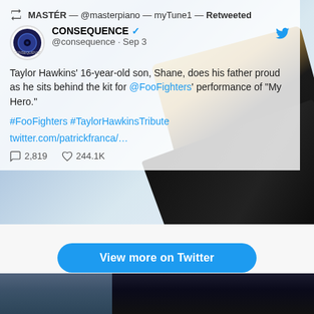[Figure (screenshot): A Twitter/X embedded tweet screenshot. Shows a retweet by MASTÉR (@masterpiano, myTune1) of a tweet by CONSEQUENCE (@consequence, Sep 3). The tweet reads: 'Taylor Hawkins' 16-year-old son, Shane, does his father proud as he sits behind the kit for @FooFighters performance of "My Hero." #FooFighters #TaylorHawkinsTribute twitter.com/patrickfranca/... — 2,819 replies, 244.1K likes'. Background shows city skyline and piano/window imagery.]
View more on Twitter
Learn more about privacy on Twitter